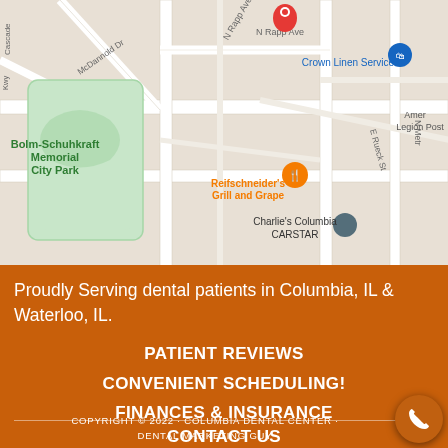[Figure (map): Google Maps view showing area near Bolm-Schuhkraft Memorial City Park, with landmarks including Crown Linen Service, Reifschneider's Grill and Grape, Charlie's Columbia CARSTAR, and American Legion Post visible.]
Proudly Serving dental patients in Columbia, IL & Waterloo, IL.
PATIENT REVIEWS
CONVENIENT SCHEDULING!
FINANCES & INSURANCE
CONTACT US
COPYRIGHT © 2022 · COLUMBIA DENTAL CENTER · DENTAL MARKETING GUY